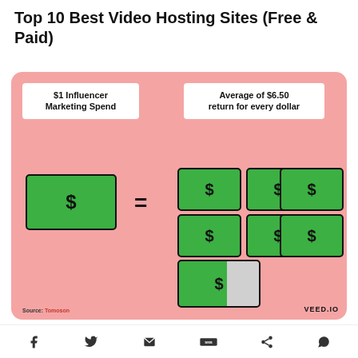Top 10 Best Video Hosting Sites (Free & Paid)
[Figure (infographic): Infographic on a pink background showing $1 Influencer Marketing Spend equals an average of $6.50 return for every dollar. One green dollar bill on the left equals 6.5 green dollar bills (7 shown, last one partially greyed out) on the right. Source: Tomoson. VEED.IO]
23 Instagram Statistics Marketers Need to Know in 2022 (List + Examples)